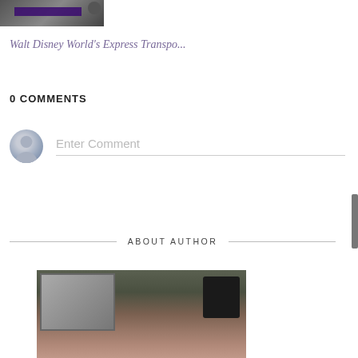[Figure (photo): Thumbnail image of a transport vehicle or scene with a dark purple header bar]
Walt Disney World's Express Transpo...
0 COMMENTS
[Figure (infographic): User avatar (grey circle with silhouette) beside a placeholder comment input field with text 'Enter Comment' and a bottom border line]
ABOUT AUTHOR
[Figure (photo): Author photo showing a woman with brown hair in an office setting with framed artwork and speaker visible in background]